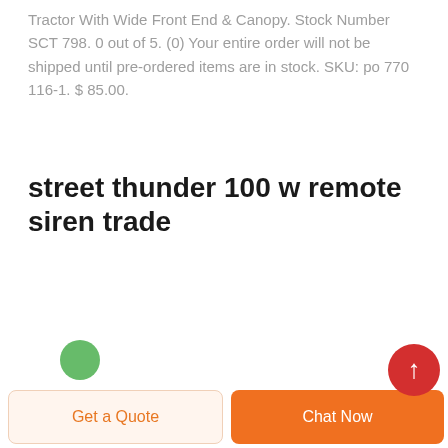Tractor With Wide Front End & Canopy. Stock Number SCT 798. 0 out of 5. (0) Your entire order will not be shipped until pre-ordered items are in stock. SKU: po 770 116-1. $ 85.00.
street thunder 100 w remote siren trade
Get a Quote
Chat Now